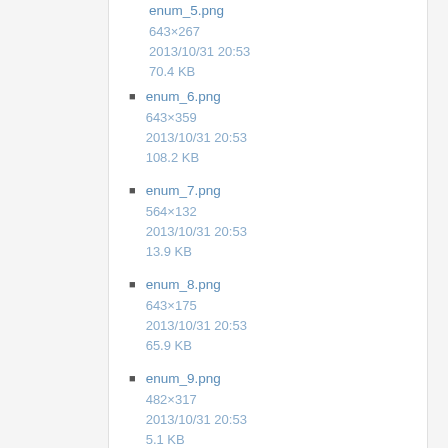enum_5.png
643×267
2013/10/31 20:53
70.4 KB
enum_6.png
643×359
2013/10/31 20:53
108.2 KB
enum_7.png
564×132
2013/10/31 20:53
13.9 KB
enum_8.png
643×175
2013/10/31 20:53
65.9 KB
enum_9.png
482×317
2013/10/31 20:53
5.1 KB